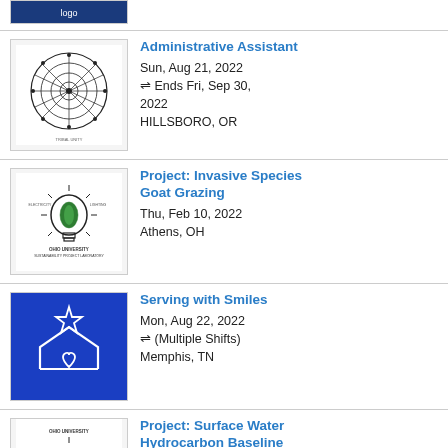[Figure (logo): Partial top of a logo image, cropped at top of page]
Administrative Assistant | Sun, Aug 21, 2022 | Ends Fri, Sep 30, 2022 | HILLSBORO, OR
Project: Invasive Species Goat Grazing | Thu, Feb 10, 2022 | Athens, OH
Serving with Smiles | Mon, Aug 22, 2022 | (Multiple Shifts) | Memphis, TN
Project: Surface Water Hydrocarbon Baseline | Wed, Feb 23, 2022 | Athens, OH